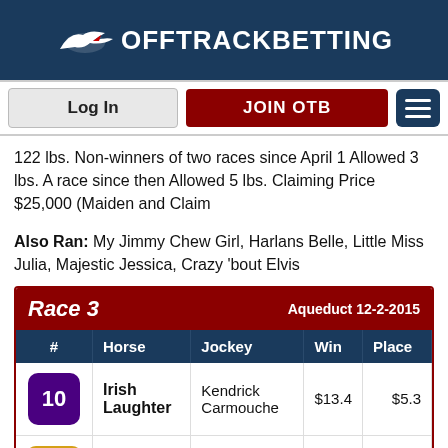[Figure (logo): OffTrackBetting logo with racing bird icon and white text on dark blue background]
[Figure (screenshot): Navigation bar with Log In button, JOIN OTB button in dark red, and hamburger menu in dark blue]
122 lbs. Non-winners of two races since April 1 Allowed 3 lbs. A race since then Allowed 5 lbs. Claiming Price $25,000 (Maiden and Claim
Also Ran: My Jimmy Chew Girl, Harlans Belle, Little Miss Julia, Majestic Jessica, Crazy 'bout Elvis
| # | Horse | Jockey | Win | Place |
| --- | --- | --- | --- | --- |
| 10 | Irish Laughter | Kendrick Carmouche | $13.4 | $5.3 |
| 14 | Wild Image | Junior Alvarado |  |  |